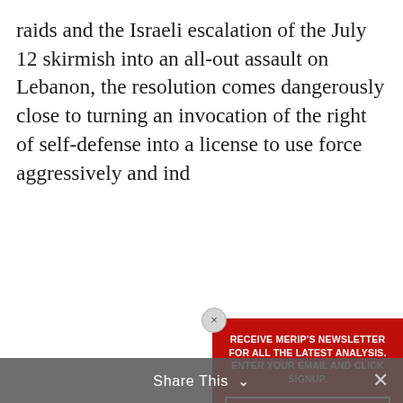raids and the Israeli escalation of the July 12 skirmish into an all-out assault on Lebanon, the resolution comes dangerously close to turning an invocation of the right of self-defense into a license to use force aggressively and ind...
Anothe... favors Israel is... ballah while re... sive military... e previou... the Israelis...
Lebane... o also continu... i Lebano... tion"
[Figure (other): Newsletter signup popup modal with red background. Title text: RECEIVE MERIP'S NEWSLETTER FOR ALL THE LATEST ANALYSIS. ENTER YOUR EMAIL AND CLICK SIGNUP. Contains an email input field labeled 'Your Email' and a 'Sign Up' button. Close button (x) in top-left corner.]
Share This ∨